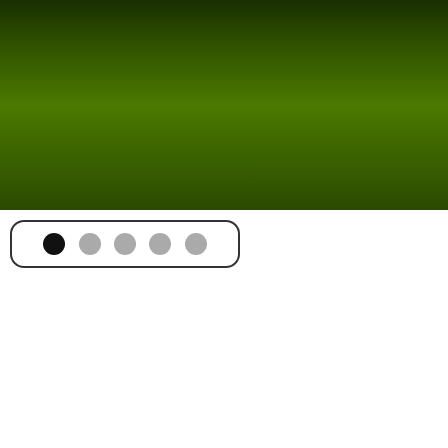[Figure (illustration): Dark green gradient banner at top of page, representing a website header image area]
[Figure (illustration): Carousel pagination control with 5 dots — first dot filled black (active), remaining four dots gray (inactive)]
[Figure (illustration): Dark olive/green navigation bar with hamburger menu button (three white horizontal lines) centered]
HEP Happenings
Community Gardens
Educational Classes and Events
Green Living
Backyard Habitats
Wildlife Habitats
Our Newsletter